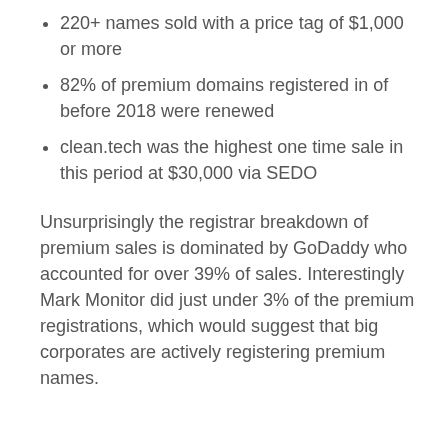220+ names sold with a price tag of $1,000 or more
82% of premium domains registered in of before 2018 were renewed
clean.tech was the highest one time sale in this period at $30,000 via SEDO
Unsurprisingly the registrar breakdown of premium sales is dominated by GoDaddy who accounted for over 39% of sales. Interestingly Mark Monitor did just under 3% of the premium registrations, which would suggest that big corporates are actively registering premium names.